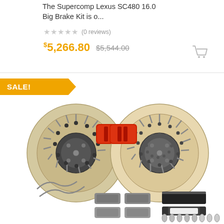The Supercomp Lexus SC480 16.0 Big Brake Kit is o...
★★★★★ (0 reviews)
$5,266.80  $5,544.00
SALE!
[Figure (photo): Product photo of a big brake kit showing two large drilled and slotted rotors with red calipers, brake pads, brake lines, and hardware components laid out on a white background.]